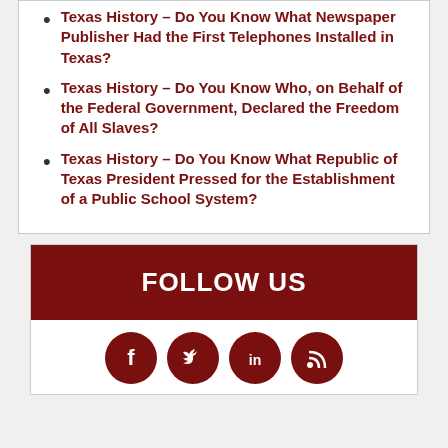Texas History – Do You Know What Newspaper Publisher Had the First Telephones Installed in Texas?
Texas History – Do You Know Who, on Behalf of the Federal Government, Declared the Freedom of All Slaves?
Texas History – Do You Know What Republic of Texas President Pressed for the Establishment of a Public School System?
FOLLOW US
[Figure (infographic): Social media icons: Facebook, Twitter, LinkedIn, RSS feed, all in dark red circles]